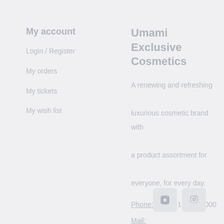My account
Login / Register
My orders
My tickets
My wish list
Umami Exclusive Cosmetics
A renewing and refreshing luxurious cosmetic brand with a product assortment for everyone, for every day.
Phone: +31 (0)117 740 000
Mail:
info@umamicosmetics.com